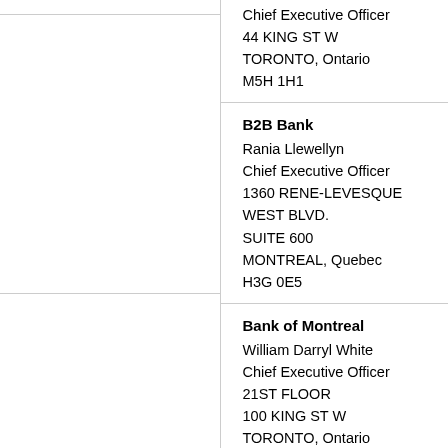Chief Executive Officer
44 KING ST W
TORONTO, Ontario
M5H 1H1
B2B Bank
Rania Llewellyn
Chief Executive Officer
1360 RENE-LEVESQUE WEST BLVD.
SUITE 600
MONTREAL, Quebec
H3G 0E5
Bank of Montreal
William Darryl White
Chief Executive Officer
21ST FLOOR
100 KING ST W
TORONTO, Ontario
M5X 1A1
Bank of Nova Scotia (The)
Brian J. Porter
President and Chief Executive Officer